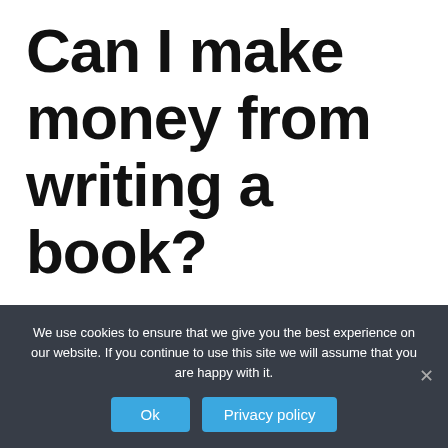Can I make money from writing a book?
Average book authors don't make a lot of money. But you can, even if you gave away all your books. You receive an advance and 10% royalties on net profit from each book. If your book retails at $25 per copy, you would need to sell at least 4,000 copies to break even.
We use cookies to ensure that we give you the best experience on our website. If you continue to use this site we will assume that you are happy with it.